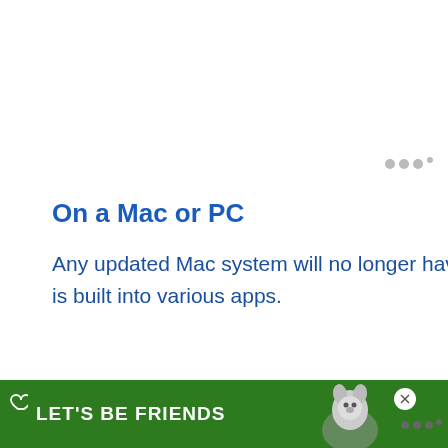On a Mac or PC
Any updated Mac system will no longer have iTunes, but the feature of iTunes is built into various apps.
For music, this will be the Music app and does include access to the iTunes store.
[Figure (other): Green advertisement banner at bottom with 'LET'S BE FRIENDS' text and husky dog illustration, with a heart icon and close (X) button]